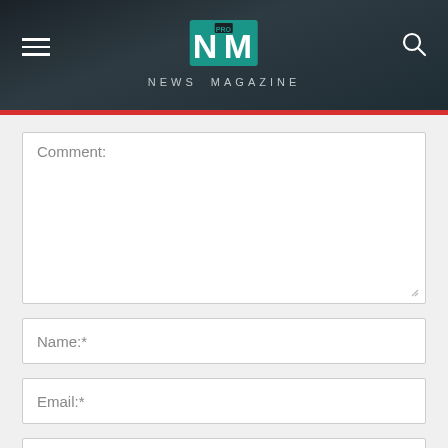NEWS MAGAZINE
Comment:
Name:*
Email:*
Website:
Save my name, email, and website in this browser for the next